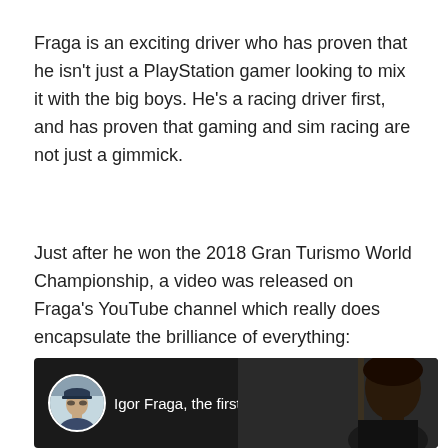Fraga is an exciting driver who has proven that he isn't just a PlayStation gamer looking to mix it with the big boys. He's a racing driver first, and has proven that gaming and sim racing are not just a gimmick.
Just after he won the 2018 Gran Turismo World Championship, a video was released on Fraga's YouTube channel which really does encapsulate the brilliance of everything:
[Figure (screenshot): YouTube video thumbnail/player showing 'Igor Fraga, the first F...' with a circular avatar of a man wearing a cap on the left, the video title in white text, and a three-dot menu icon. A partial silhouette of a person's face is visible on the right side of the dark background.]